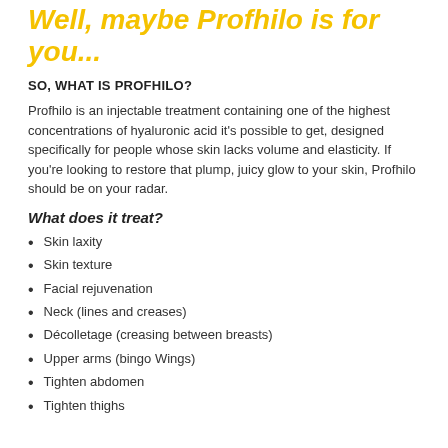Well, maybe Profhilo is for you...
SO, WHAT IS PROFHILO?
Profhilo is an injectable treatment containing one of the highest concentrations of hyaluronic acid it's possible to get, designed specifically for people whose skin lacks volume and elasticity. If you're looking to restore that plump, juicy glow to your skin, Profhilo should be on your radar.
What does it treat?
Skin laxity
Skin texture
Facial rejuvenation
Neck (lines and creases)
Décolletage (creasing between breasts)
Upper arms (bingo Wings)
Tighten abdomen
Tighten thighs